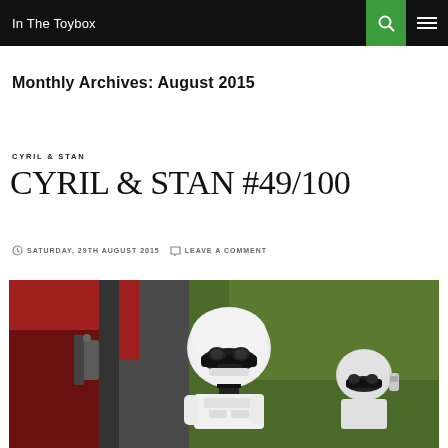In The Toybox
Monthly Archives: August 2015
CYRIL & STAN
CYRIL & STAN #49/100
SATURDAY, 29TH AUGUST 2015   LEAVE A COMMENT
[Figure (photo): Photo of two Stormtrooper action figures, one in foreground facing right, one in background, set against a red and green blurred background]